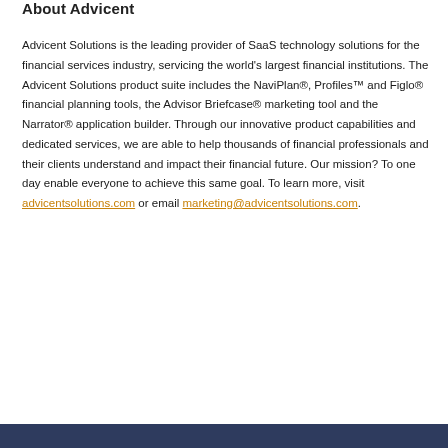About Advicent
Advicent Solutions is the leading provider of SaaS technology solutions for the financial services industry, servicing the world's largest financial institutions. The Advicent Solutions product suite includes the NaviPlan®, Profiles™ and Figlo® financial planning tools, the Advisor Briefcase® marketing tool and the Narrator® application builder. Through our innovative product capabilities and dedicated services, we are able to help thousands of financial professionals and their clients understand and impact their financial future. Our mission? To one day enable everyone to achieve this same goal. To learn more, visit advicentsolutions.com or email marketing@advicentsolutions.com.